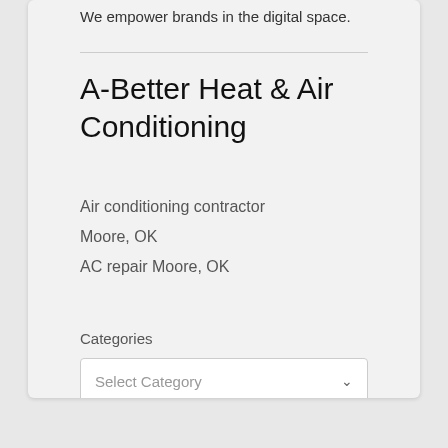We empower brands in the digital space.
A-Better Heat & Air Conditioning
Air conditioning contractor
Moore, OK
AC repair Moore, OK
Categories
Select Category